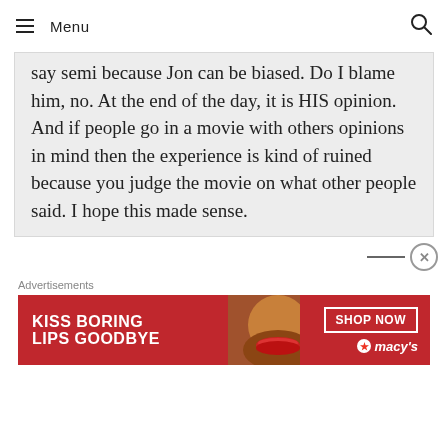Menu
say semi because Jon can be biased. Do I blame him, no. At the end of the day, it is HIS opinion. And if people go in a movie with others opinions in mind then the experience is kind of ruined because you judge the movie on what other people said. I hope this made sense.
Advertisements
[Figure (photo): Macy's advertisement banner with red background showing a woman's face with red lipstick. Text reads KISS BORING LIPS GOODBYE with SHOP NOW button and Macy's logo.]